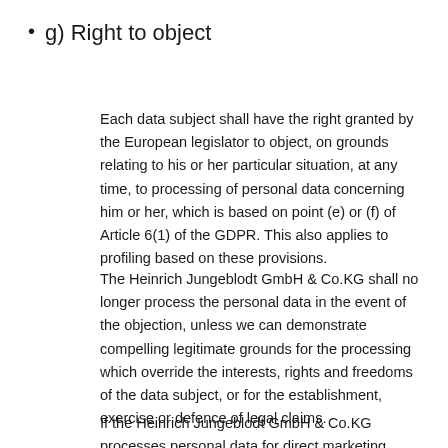g) Right to object
Each data subject shall have the right granted by the European legislator to object, on grounds relating to his or her particular situation, at any time, to processing of personal data concerning him or her, which is based on point (e) or (f) of Article 6(1) of the GDPR. This also applies to profiling based on these provisions.
The Heinrich Jungeblodt GmbH & Co.KG shall no longer process the personal data in the event of the objection, unless we can demonstrate compelling legitimate grounds for the processing which override the interests, rights and freedoms of the data subject, or for the establishment, exercise or defence of legal claims.
If the Heinrich Jungeblodt GmbH & Co.KG processes personal data for direct marketing purposes, the